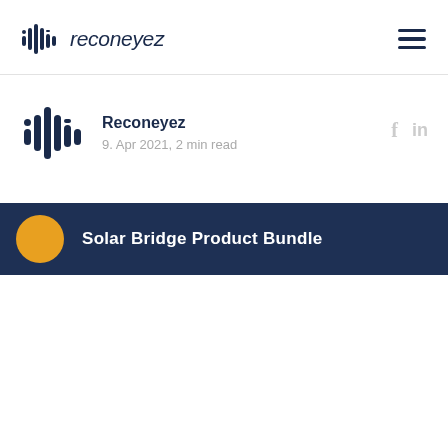reconeyez
Reconeyez
9. Apr 2021, 2 min read
[Figure (screenshot): Dark navy banner with orange circle icon and text 'Solar Bridge Product Bundle']